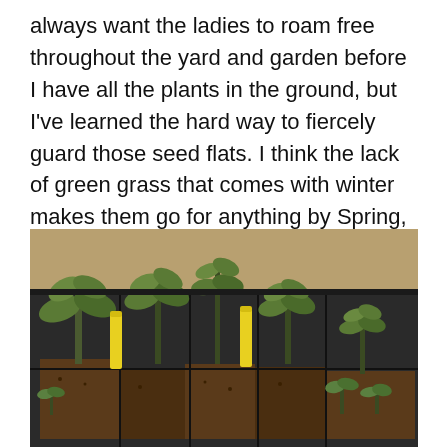always want the ladies to roam free throughout the yard and garden before I have all the plants in the ground, but I've learned the hard way to fiercely guard those seed flats. I think the lack of green grass that comes with winter makes them go for anything by Spring, even these poor pepper seedlings!
[Figure (photo): A photograph of pepper seedlings growing in a black plastic seed flat tray. The seedlings are small green plants with yellow plant markers/labels inserted in the soil among them. The background shows a wooden surface.]